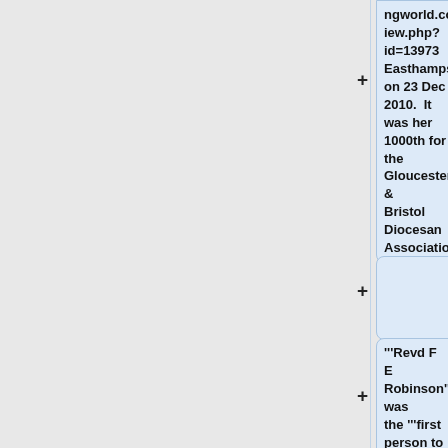ngworld.co.uk/view.php?id=13973 Easthampstead] on 23 Dec 2010. It was her 1000th for the Gloucester & Bristol Diocesan Association.
'''Revd F E Robinson''' was the '''first person to reach 1000 peals'''. This was on 9 Aug 1905 according to his records but he